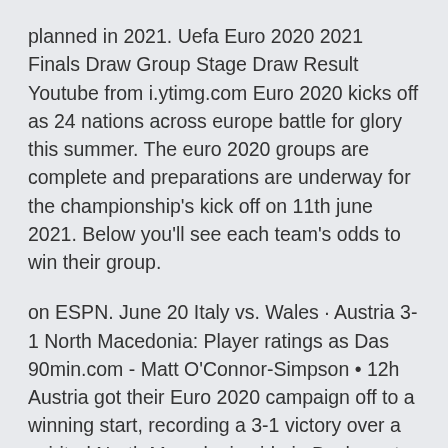planned in 2021. Uefa Euro 2020 2021 Finals Draw Group Stage Draw Result Youtube from i.ytimg.com Euro 2020 kicks off as 24 nations across europe battle for glory this summer. The euro 2020 groups are complete and preparations are underway for the championship's kick off on 11th june 2021. Below you'll see each team's odds to win their group.
on ESPN. June 20 Italy vs. Wales · Austria 3-1 North Macedonia: Player ratings as Das 90min.com - Matt O'Connor-Simpson • 12h Austria got their Euro 2020 campaign off to a winning start, recording a 3-1 victory over a spirited North Macedonia side in Bucharest. Jun 13, 2021 · Austria. The Austrian team will be looking to improve themselves after a horrendous display of football in the last two iterations of the Euro